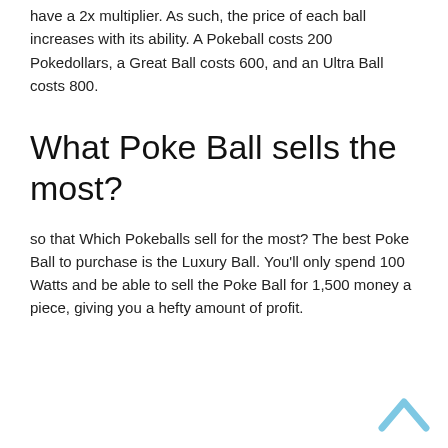have a 2x multiplier. As such, the price of each ball increases with its ability. A Pokeball costs 200 Pokedollars, a Great Ball costs 600, and an Ultra Ball costs 800.
What Poke Ball sells the most?
so that Which Pokeballs sell for the most? The best Poke Ball to purchase is the Luxury Ball. You'll only spend 100 Watts and be able to sell the Poke Ball for 1,500 money a piece, giving you a hefty amount of profit.
[Figure (other): A light blue upward-pointing chevron/caret icon in the bottom-right corner, used as a scroll-to-top button.]